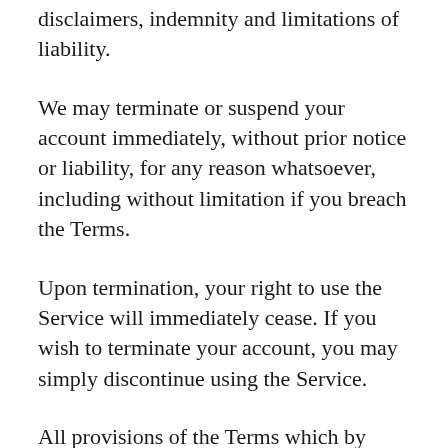disclaimers, indemnity and limitations of liability.
We may terminate or suspend your account immediately, without prior notice or liability, for any reason whatsoever, including without limitation if you breach the Terms.
Upon termination, your right to use the Service will immediately cease. If you wish to terminate your account, you may simply discontinue using the Service.
All provisions of the Terms which by their nature should survive termination shall survive termination, including, without